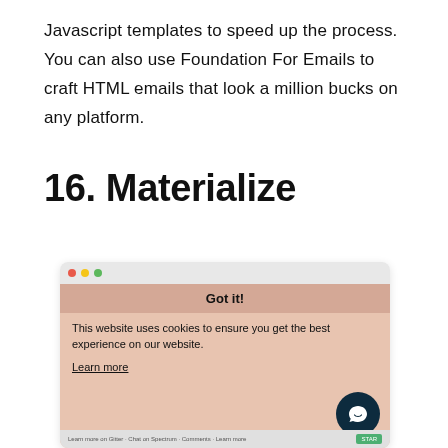Javascript templates to speed up the process. You can also use Foundation For Emails to craft HTML emails that look a million bucks on any platform.
16. Materialize
[Figure (screenshot): Browser screenshot showing a cookie consent overlay on a salmon/peach background. The overlay has a dark button labeled 'Got it!' at the top, followed by text 'This website uses cookies to ensure you get the best experience on our website.' and a 'Learn more' underlined link. A dark circular chat button with a smiley face icon is in the bottom right corner.]